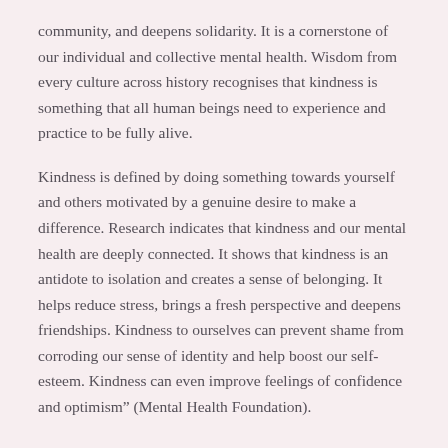community, and deepens solidarity. It is a cornerstone of our individual and collective mental health. Wisdom from every culture across history recognises that kindness is something that all human beings need to experience and practice to be fully alive.
Kindness is defined by doing something towards yourself and others motivated by a genuine desire to make a difference. Research indicates that kindness and our mental health are deeply connected. It shows that kindness is an antidote to isolation and creates a sense of belonging. It helps reduce stress, brings a fresh perspective and deepens friendships. Kindness to ourselves can prevent shame from corroding our sense of identity and help boost our self-esteem. Kindness can even improve feelings of confidence and optimism" (Mental Health Foundation).